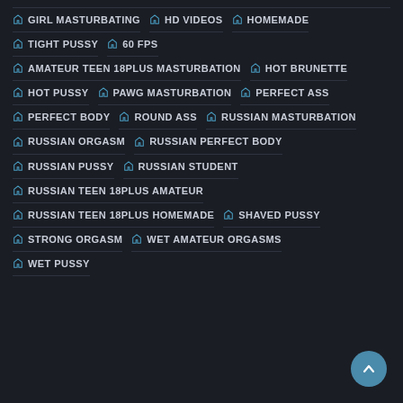GIRL MASTURBATING
HD VIDEOS
HOMEMADE
TIGHT PUSSY
60 FPS
AMATEUR TEEN 18PLUS MASTURBATION
HOT BRUNETTE
HOT PUSSY
PAWG MASTURBATION
PERFECT ASS
PERFECT BODY
ROUND ASS
RUSSIAN MASTURBATION
RUSSIAN ORGASM
RUSSIAN PERFECT BODY
RUSSIAN PUSSY
RUSSIAN STUDENT
RUSSIAN TEEN 18PLUS AMATEUR
RUSSIAN TEEN 18PLUS HOMEMADE
SHAVED PUSSY
STRONG ORGASM
WET AMATEUR ORGASMS
WET PUSSY